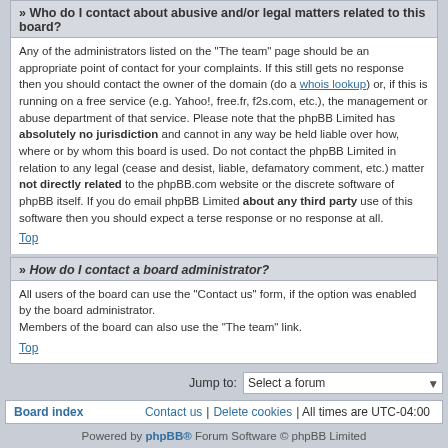» Who do I contact about abusive and/or legal matters related to this board?
Any of the administrators listed on the "The team" page should be an appropriate point of contact for your complaints. If this still gets no response then you should contact the owner of the domain (do a whois lookup) or, if this is running on a free service (e.g. Yahoo!, free.fr, f2s.com, etc.), the management or abuse department of that service. Please note that the phpBB Limited has absolutely no jurisdiction and cannot in any way be held liable over how, where or by whom this board is used. Do not contact the phpBB Limited in relation to any legal (cease and desist, liable, defamatory comment, etc.) matter not directly related to the phpBB.com website or the discrete software of phpBB itself. If you do email phpBB Limited about any third party use of this software then you should expect a terse response or no response at all.
Top
» How do I contact a board administrator?
All users of the board can use the "Contact us" form, if the option was enabled by the board administrator.
Members of the board can also use the "The team" link.
Top
Jump to: Select a forum
Board index | Contact us | Delete cookies | All times are UTC-04:00
Powered by phpBB® Forum Software © phpBB Limited